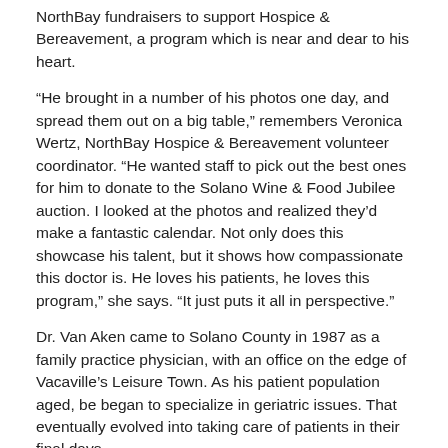NorthBay fundraisers to support Hospice & Bereavement, a program which is near and dear to his heart.
“He brought in a number of his photos one day, and spread them out on a big table,” remembers Veronica Wertz, NorthBay Hospice & Bereavement volunteer coordinator. “He wanted staff to pick out the best ones for him to donate to the Solano Wine & Food Jubilee auction. I looked at the photos and realized they’d make a fantastic calendar. Not only does this showcase his talent, but it shows how compassionate this doctor is. He loves his patients, he loves this program,” she says. “It just puts it all in perspective.”
Dr. Van Aken came to Solano County in 1987 as a family practice physician, with an office on the edge of Vacaville’s Leisure Town. As his patient population aged, be began to specialize in geriatric issues. That eventually evolved into taking care of patients in their final days.
So when an opportunity to join the NorthBay Health at Home program came up, he realized it was a good fit for his practice style, and it would be an opportunity to work with hospice. Now in the role of medical director, he’s been able to add a palliative care program, which helps critically ill patients who are not ready for hospice make quality of life decisions about their care.
It’s a rewarding job, but certainly comes with its unique share of stress.